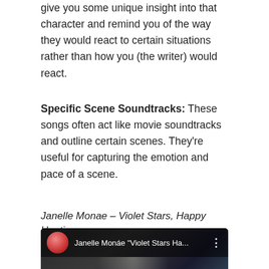give you some unique insight into that character and remind you of the way they would react to certain situations rather than how you (the writer) would react.
Specific Scene Soundtracks: These songs often act like movie soundtracks and outline certain scenes. They're useful for capturing the emotion and pace of a scene.
Janelle Monae – Violet Stars, Happy Hunting
[Figure (screenshot): YouTube video thumbnail showing Janelle Monáe 'Violet Stars Ha...' with avatar, title bar, play button, and a performer in a teal outfit on stage under spotlight]